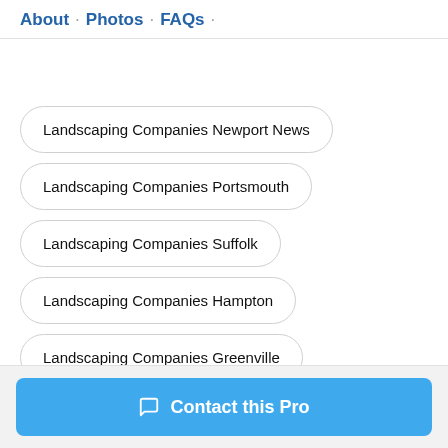About · Photos · FAQs ·
Landscaping Companies Newport News
Landscaping Companies Portsmouth
Landscaping Companies Suffolk
Landscaping Companies Hampton
Landscaping Companies Greenville
Landscaping Companies Rocky Mount
Contact this Pro